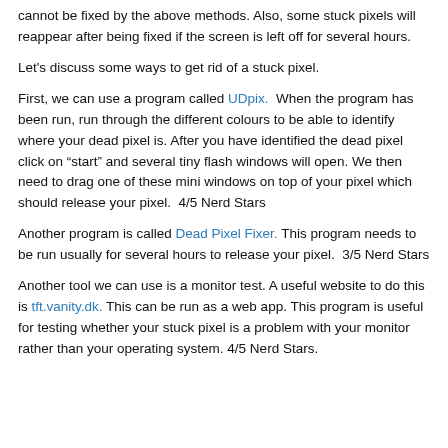cannot be fixed by the above methods. Also, some stuck pixels will reappear after being fixed if the screen is left off for several hours.
Let's discuss some ways to get rid of a stuck pixel.
First, we can use a program called UDpix.  When the program has been run, run through the different colours to be able to identify where your dead pixel is. After you have identified the dead pixel click on “start” and several tiny flash windows will open. We then need to drag one of these mini windows on top of your pixel which should release your pixel.  4/5 Nerd Stars
Another program is called Dead Pixel Fixer. This program needs to be run usually for several hours to release your pixel.  3/5 Nerd Stars
Another tool we can use is a monitor test. A useful website to do this is tft.vanity.dk. This can be run as a web app. This program is useful for testing whether your stuck pixel is a problem with your monitor rather than your operating system. 4/5 Nerd Stars.